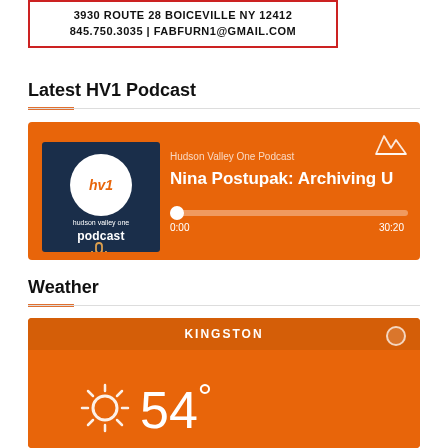3930 ROUTE 28 BOICEVILLE NY 12412
845.750.3035 | FABFURN1@GMAIL.COM
Latest HV1 Podcast
[Figure (screenshot): Orange podcast player widget for Hudson Valley One Podcast. Shows episode 'Nina Postupak: Archiving U...' with a progress bar showing 0:00 / 30:20. Left side has podcast logo with 'hv1' circle and 'hudson valley one podcast' text on dark blue background.]
Weather
[Figure (screenshot): Orange weather widget showing KINGSTON with a sun icon and temperature 54 degrees.]